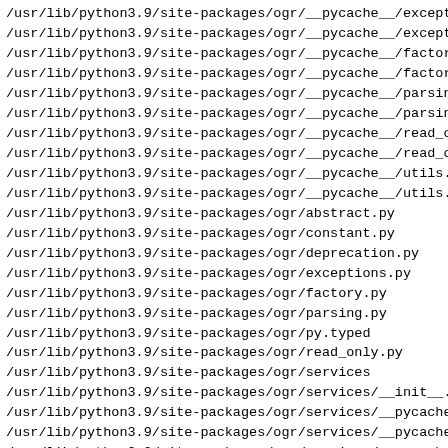/usr/lib/python3.9/site-packages/ogr/__pycache__/exceptio
/usr/lib/python3.9/site-packages/ogr/__pycache__/exceptio
/usr/lib/python3.9/site-packages/ogr/__pycache__/factory
/usr/lib/python3.9/site-packages/ogr/__pycache__/factory
/usr/lib/python3.9/site-packages/ogr/__pycache__/parsing
/usr/lib/python3.9/site-packages/ogr/__pycache__/parsing
/usr/lib/python3.9/site-packages/ogr/__pycache__/read_onl
/usr/lib/python3.9/site-packages/ogr/__pycache__/read_onl
/usr/lib/python3.9/site-packages/ogr/__pycache__/utils.cp
/usr/lib/python3.9/site-packages/ogr/__pycache__/utils.cp
/usr/lib/python3.9/site-packages/ogr/abstract.py
/usr/lib/python3.9/site-packages/ogr/constant.py
/usr/lib/python3.9/site-packages/ogr/deprecation.py
/usr/lib/python3.9/site-packages/ogr/exceptions.py
/usr/lib/python3.9/site-packages/ogr/factory.py
/usr/lib/python3.9/site-packages/ogr/parsing.py
/usr/lib/python3.9/site-packages/ogr/py.typed
/usr/lib/python3.9/site-packages/ogr/read_only.py
/usr/lib/python3.9/site-packages/ogr/services
/usr/lib/python3.9/site-packages/ogr/services/__init__.py
/usr/lib/python3.9/site-packages/ogr/services/__pycache__
/usr/lib/python3.9/site-packages/ogr/services/__pycache__
/usr/lib/python3.9/site-packages/ogr/services/__pycache__
/usr/lib/python3.9/site-packages/ogr/services/__pycache__
/usr/lib/python3.9/site-packages/ogr/services/__pycache__
/usr/lib/python3.9/site-packages/ogr/services/base.py
/usr/lib/python3.9/site-packages/ogr/services/github
/usr/lib/python3.9/site-packages/ogr/services/github/__in
/usr/lib/python3.9/site-packages/ogr/services/github/__py
/usr/lib/python3.9/site-packages/ogr/services/github/__py